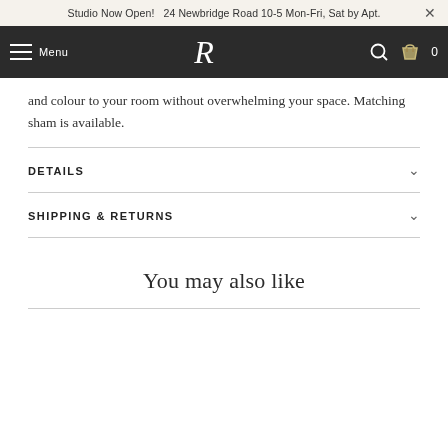Studio Now Open!  24 Newbridge Road 10-5 Mon-Fri, Sat by Apt.
R  Menu
and colour to your room without overwhelming your space. Matching sham is available.
DETAILS
SHIPPING & RETURNS
You may also like